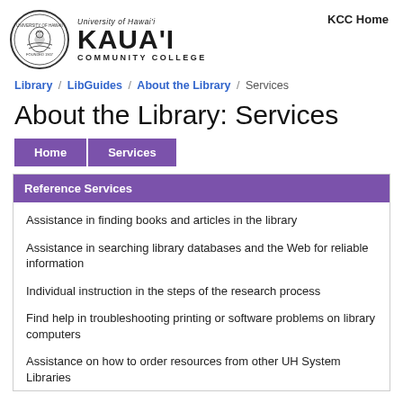[Figure (logo): University of Hawaii Kauai Community College logo with circular seal and text]
KCC Home
Library / LibGuides / About the Library / Services
About the Library: Services
Home
Services
Reference Services
Assistance in finding books and articles in the library
Assistance in searching library databases and the Web for reliable information
Individual instruction in the steps of the research process
Find help in troubleshooting printing or software problems on library computers
Assistance on how to order resources from other UH System Libraries